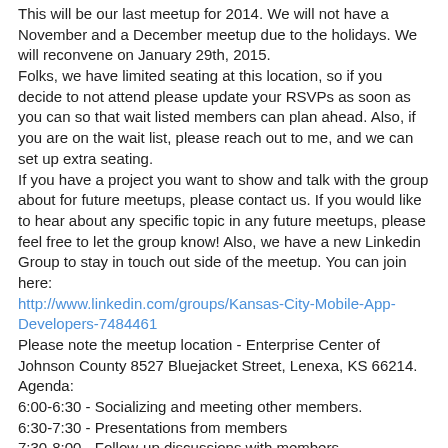This will be our last meetup for 2014. We will not have a November and a December meetup due to the holidays. We will reconvene on January 29th, 2015.
Folks, we have limited seating at this location, so if you decide to not attend please update your RSVPs as soon as you can so that wait listed members can plan ahead. Also, if you are on the wait list, please reach out to me, and we can set up extra seating.
If you have a project you want to show and talk with the group about for future meetups, please contact us. If you would like to hear about any specific topic in any future meetups, please feel free to let the group know! Also, we have a new Linkedin Group to stay in touch out side of the meetup. You can join here:
http://www.linkedin.com/groups/Kansas-City-Mobile-App-Developers-7484461
Please note the meetup location - Enterprise Center of Johnson County 8527 Bluejacket Street, Lenexa, KS 66214.
Agenda:
6:00-6:30 - Socializing and meeting other members.
6:30-7:30 - Presentations from members
7:30-8:00 - Follow-up discussions with members